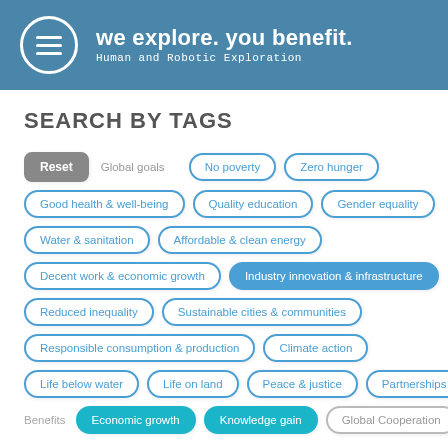we explore. you benefit. Human and Robotic Exploration
SEARCH BY TAGS
Reset | Global goals | No poverty | Zero hunger
Good health & well-being | Quality education | Gender equality
Water & sanitation | Affordable & clean energy
Decent work & economic growth | Industry innovation & infrastructure [active]
Reduced inequality | Sustainable cities & communities
Responsible consumption & production | Climate action
Life below water | Life on land | Peace & justice | Partnerships
Benefits: Economic growth [active] | Knowledge gain [active] | Global Cooperation